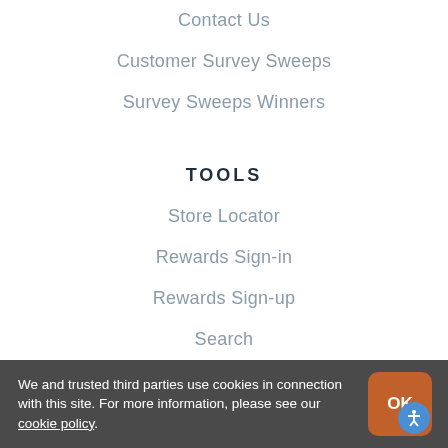Contact Us
Customer Survey Sweeps
Survey Sweeps Winners
TOOLS
Store Locator
Rewards Sign-in
Rewards Sign-up
Search
We and trusted third parties use cookies in connection with this site. For more information, please see our cookie policy.